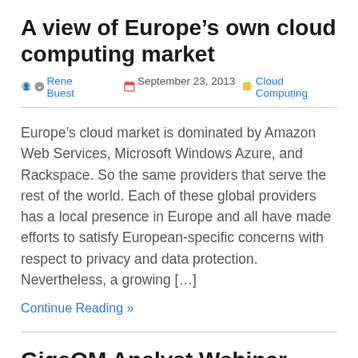A view of Europe’s own cloud computing market
👤 Rene Buest  📅 September 23, 2013  🏷 Cloud Computing
Europe’s cloud market is dominated by Amazon Web Services, Microsoft Windows Azure, and Rackspace. So the same providers that serve the rest of the world. Each of these global providers has a local presence in Europe and all have made efforts to satisfy European-specific concerns with respect to privacy and data protection. Nevertheless, a growing […]
Continue Reading »
GigaOM Analyst Webinar – The Future of Cloud in Europe [Recording]